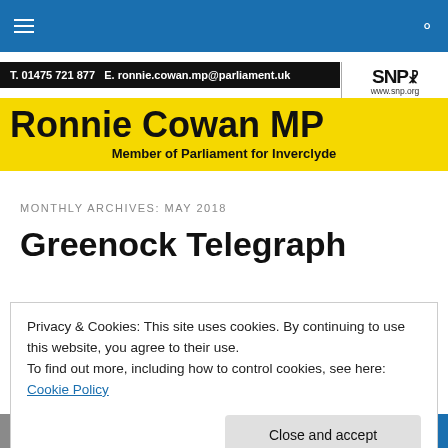Navigation bar with hamburger menu and search icon
[Figure (logo): Ronnie Cowan MP banner with contact info: T. 01475 721 877 E. ronnie.cowan.mp@parliament.uk and SNP logo]
MONTHLY ARCHIVES: MAY 2018
Greenock Telegraph
[31/05/2018]
Privacy & Cookies: This site uses cookies. By continuing to use this website, you agree to their use.
To find out more, including how to control cookies, see here: Cookie Policy
Close and accept
[Figure (screenshot): Bottom blue strip showing partial Westminster Diary article with avatar photo]